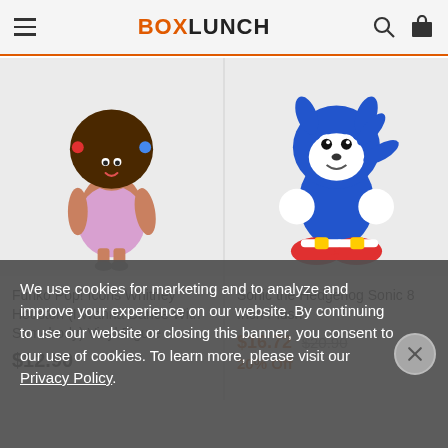BOXLUNCH
[Figure (photo): Funko Pop! Icons Whitney Houston vinyl figure product image on light gray background]
[Figure (photo): Sonic the Hedgehog 8 Inch Plush product image on light gray background]
Funko Pop! Icons Whitney Houston (I Wanna Dance With Somebody) Vinyl Figure
$12.90
Sonic the Hedgehog Sonic 8 Inch Plush
$16.72 $20.90
20% Off
We use cookies for marketing and to analyze and improve your experience on our website. By continuing to use our website or closing this banner, you consent to our use of cookies. To learn more, please visit our Privacy Policy.